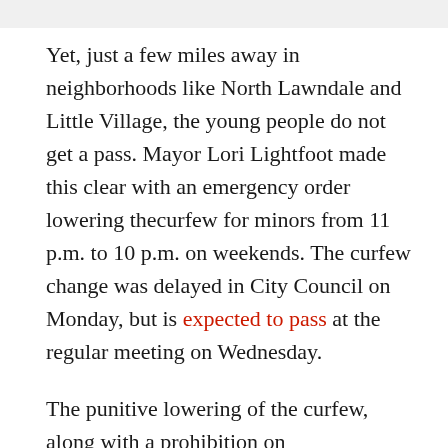Yet, just a few miles away in neighborhoods like North Lawndale and Little Village, the young people do not get a pass. Mayor Lori Lightfoot made this clear with an emergency order lowering thecurfew for minors from 11 p.m. to 10 p.m. on weekends. The curfew change was delayed in City Council on Monday, but is expected to pass at the regular meeting on Wednesday.
The punitive lowering of the curfew, along with a prohibition on unaccompanied children in Millennium Park during evenings Thursday through Sunday, flies in the face of evidence, as Ald. Michael Rodriguez (22nd) has pointed out, noting in a recent interview that studies show lowered curfew times don't decrease crime but have the opposite effect.